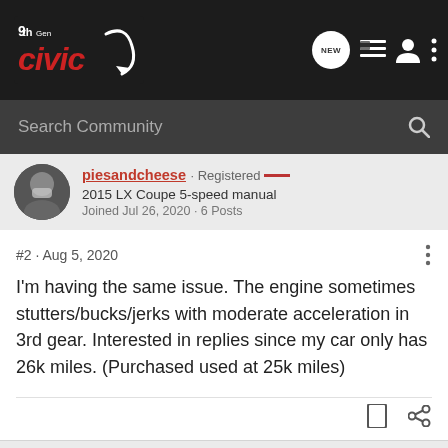[Figure (logo): 9th Gen Civic forum logo with red italic text and swoosh icon on dark background]
Search Community
piesandcheese · Registered
2015 LX Coupe 5-speed manual
Joined Jul 26, 2020 · 6 Posts
#2 · Aug 5, 2020
I'm having the same issue. The engine sometimes stutters/bucks/jerks with moderate acceleration in 3rd gear. Interested in replies since my car only has 26k miles. (Purchased used at 25k miles)
kimrico34 · Registered 🇬🇧
Joined Jun 29, 2020 · 6 Posts